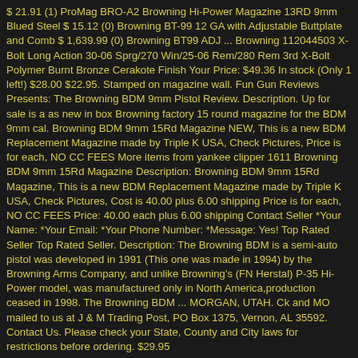$ 21.91 (1) ProMag BRO-A2 Browning Hi-Power Magazine 13RD 9mm Blued Steel $ 15.12 (0) Browning BT-99 12 GA with Adjustable Buttplate and Comb $ 1,639.99 (0) Browning BT99 ADJ ... Browning 112044503 X-Bolt Long Action 30-06 Sprg/270 Win/25-06 Rem/280 Rem 3rd X-Bolt Polymer Burnt Bronze Cerakote Finish Your Price: $49.36 In stock (Only 1 left!) $28.00 $22.95. Stamped on magazine wall. Fun Gun Reviews Presents: The Browning BDM 9mm Pistol Review. Description. Up for sale is a as new in box Browning factory 15 round magazine for the BDM 9mm cal. Browning BDM 9mm 15Rd Magazine NEW, This is a new BDM Replacement Magazine made by Triple K USA, Check Pictures, Price is for each, NO CC FEES More items from yankee clipper 1611 Browning BDM 9mm 15Rd Magazine Description: Browning BDM 9mm 15Rd Magazine, This is a new BDM Replacement Magazine made by Triple K USA, Check Pictures, Cost is 40.00 plus 6.00 shipping Price is for each, NO CC FEES Price: 40.00 each plus 6.00 shipping Contact Seller *Your Name: *Your Email: *Your Phone Number: *Message: Yes! Top Rated Seller Top Rated Seller. Description: The Browning BDM is a semi-auto pistol was developed in 1991 (This one was made in 1994) by the Browning Arms Company, and unlike Browning's (FN Herstal) P-35 Hi-Power model, was manufactured only in North America,production ceased in 1998. The Browning BDM ... MORGAN, UTAH. Ck and MO mailed to us at J & M Trading Post, PO Box 1375, Vernon, AL 35592. Contact Us. Please check your State, County and City laws for restrictions before ordering. $29.95